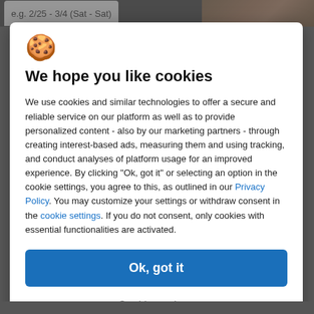e.g. 2/25 - 3/4 (Sat - Sat)
[Figure (screenshot): Cookie consent modal dialog on a travel website. Contains a cookie emoji, bold heading 'We hope you like cookies', body text about cookie usage and privacy policy, an 'Ok, got it' blue button, and a 'Cookie settings' text button.]
We hope you like cookies
We use cookies and similar technologies to offer a secure and reliable service on our platform as well as to provide personalized content - also by our marketing partners - through creating interest-based ads, measuring them and using tracking, and conduct analyses of platform usage for an improved experience. By clicking "Ok, got it" or selecting an option in the cookie settings, you agree to this, as outlined in our Privacy Policy. You may customize your settings or withdraw consent in the cookie settings. If you do not consent, only cookies with essential functionalities are activated.
Ok, got it
Cookie settings